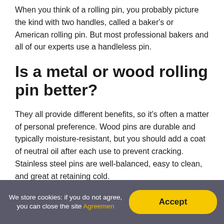When you think of a rolling pin, you probably picture the kind with two handles, called a baker's or American rolling pin. But most professional bakers and all of our experts use a handleless pin.
Is a metal or wood rolling pin better?
They all provide different benefits, so it's often a matter of personal preference. Wood pins are durable and typically moisture-resistant, but you should add a coat of neutral oil after each use to prevent cracking. Stainless steel pins are well-balanced, easy to clean, and great at retaining cold.
We store cookies: if you do not agree, you can close the site Agreemen